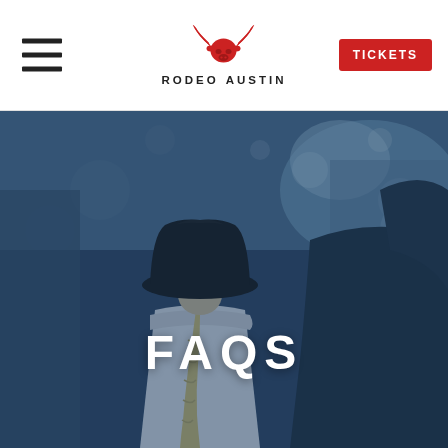Rodeo Austin — Navigation bar with hamburger menu and TICKETS button
[Figure (photo): Blue-tinted photo of a person viewed from behind wearing a large black cowboy hat with a long braid, next to a dark horse, with blurred bokeh lights in background. The word FAQS is overlaid in large white bold letters at the center.]
FAQS